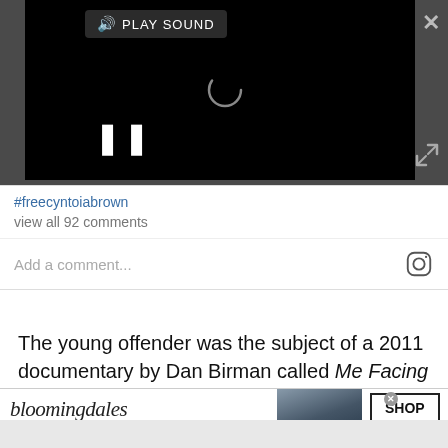[Figure (screenshot): Video player with black background, loading spinner, pause button, play sound button overlay. Gray background around player with close X button and expand arrows icon.]
#freecyntoiabrown
view all 92 comments
Add a comment...
The young offender was the subject of a 2011 documentary by Dan Birman called Me Facing Life: Cyntoia's Story, which renewed the public's interest in the
[Figure (screenshot): Bloomingdale's advertisement banner: 'bloomingdales View Today's Top Deals!' with woman in hat image and 'SHOP NOW >' button.]